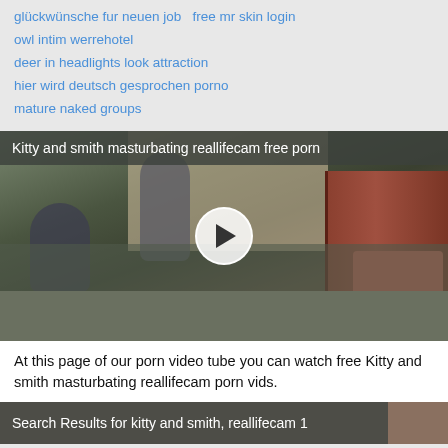glückwünsche fur neuen job   free mr skin login
owl intim werrehotel
deer in headlights look attraction
hier wird deutsch gesprochen porno
mature naked groups
[Figure (screenshot): Video thumbnail showing two people on a sofa/bed with a play button overlay. Title bar reads: Kitty and smith masturbating reallifecam free porn]
At this page of our porn video tube you can watch free Kitty and smith masturbating reallifecam porn vids.
[Figure (screenshot): Partial thumbnail with title bar: Search Results for kitty and smith, reallifecam 1]